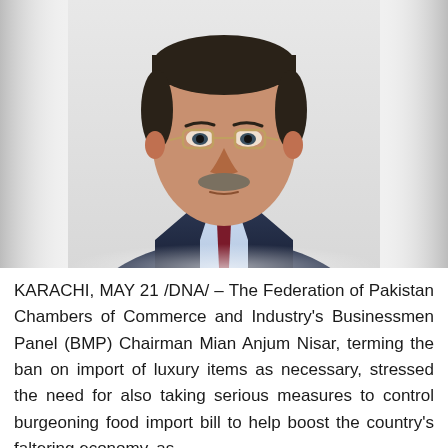[Figure (photo): Portrait photo of a middle-aged South Asian man wearing glasses, a dark navy suit, light blue dress shirt, and a maroon tie. He has a grey mustache and short dark hair. The background is white/light grey.]
KARACHI, MAY 21 /DNA/ – The Federation of Pakistan Chambers of Commerce and Industry's Businessmen Panel (BMP) Chairman Mian Anjum Nisar, terming the ban on import of luxury items as necessary, stressed the need for also taking serious measures to control burgeoning food import bill to help boost the country's faltering economy, as